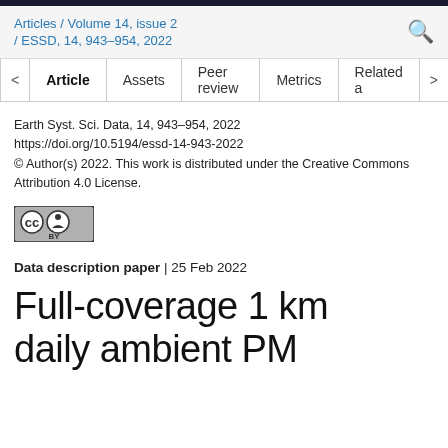Articles / Volume 14, issue 2 / ESSD, 14, 943–954, 2022
Earth Syst. Sci. Data, 14, 943–954, 2022
https://doi.org/10.5194/essd-14-943-2022
© Author(s) 2022. This work is distributed under the Creative Commons Attribution 4.0 License.
[Figure (logo): Creative Commons BY license badge]
Data description paper | 25 Feb 2022
Full-coverage 1 km daily ambient PM